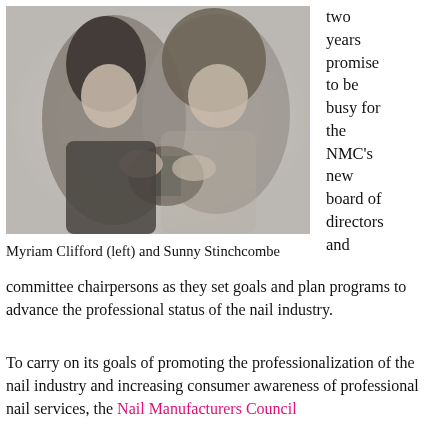[Figure (photo): Black and white photograph of Myriam Clifford (left) and Sunny Stinchcombe, two women holding a trophy together]
two years promise to be busy for the NMC's new board of directors and
Myriam Clifford (left) and Sunny Stinchcombe
committee chairpersons as they set goals and plan programs to advance the professional status of the nail industry.
To carry on its goals of promoting the professionalization of the nail industry and increasing consumer awareness of professional nail services, the Nail Manufacturers Council